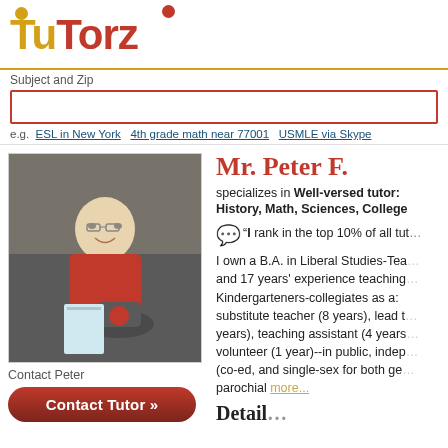[Figure (logo): TuTorz logo with gold and red lettering and decorative circles]
Subject and Zip
[Figure (other): Search input box]
e.g.  ESL in New York  4th grade math near 77001  USMLE via Skype
[Figure (photo): Photo of Mr. Peter F., a man in a red shirt sitting at a store]
Contact Peter
Contact Tutor »
Mr. Peter F.
specializes in Well-versed tutor: History, Math, Sciences, Colleg…
"I rank in the top 10% of all tut…
I own a B.A. in Liberal Studies-Tea… and 17 years' experience teaching… Kindergarteners-collegiates as a: substitute teacher (8 years), lead t… years), teaching assistant (4 years… volunteer (1 year)--in public, indep… (co-ed, and single-sex for both ge… parochial more...
Detail…